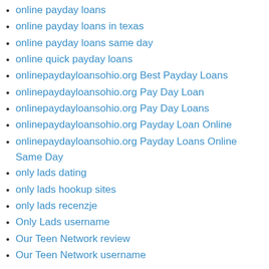online payday loans
online payday loans in texas
online payday loans same day
online quick payday loans
onlinepaydayloansohio.org Best Payday Loans
onlinepaydayloansohio.org Pay Day Loan
onlinepaydayloansohio.org Pay Day Loans
onlinepaydayloansohio.org Payday Loan Online
onlinepaydayloansohio.org Payday Loans Online Same Day
only lads dating
only lads hookup sites
only lads recenzje
Only Lads username
Our Teen Network review
Our Teen Network username